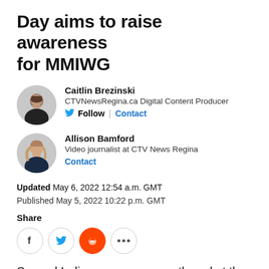Day aims to raise awareness for MMIWG
Caitlin Brezinski
CTVNewsRegina.ca Digital Content Producer
Follow | Contact
Allison Bamford
Video journalist at CTV News Regina
Contact
Updated May 6, 2022 12:54 a.m. GMT
Published May 5, 2022 10:22 p.m. GMT
Share
[Figure (other): Social share icons: Facebook, Twitter, Reddit, more (...)]
Several Indigenous women gathered at the legislative building Thursday morning to honour